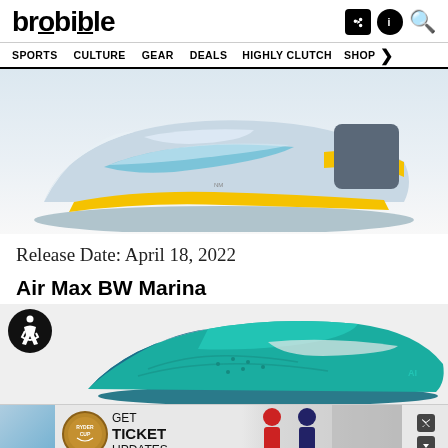brobible
SPORTS  CULTURE  GEAR  DEALS  HIGHLY CLUTCH  SHOP
[Figure (photo): Nike sneaker (light blue/grey with yellow and teal accents) shown from the side on white background]
Release Date: April 18, 2022
Air Max BW Marina
[Figure (photo): Teal/turquoise Nike Air Max BW Marina sneaker shown from the side on light grey background, with wheelchair accessibility icon overlay]
[Figure (infographic): Advertisement banner: Ryder Cup logo, text GET TICKET UPDATES, photos of golfers, close/info buttons]